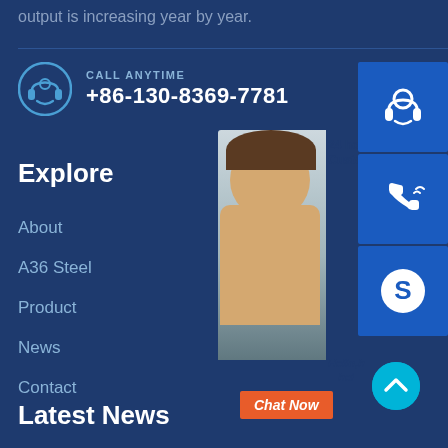output is increasing year by year.
CALL ANYTIME
+86-130-8369-7781
Explore
About
A36 Steel
Product
News
Contact
Latest News
[Figure (screenshot): Chat widget overlay with customer support icons (headset, phone, Skype), a partial photo of a woman smiling, text '24 ho Customer' and 'Hello,h hel' and a Chat Now button]
[Figure (infographic): Scroll-to-top button (cyan circle with upward chevron)]